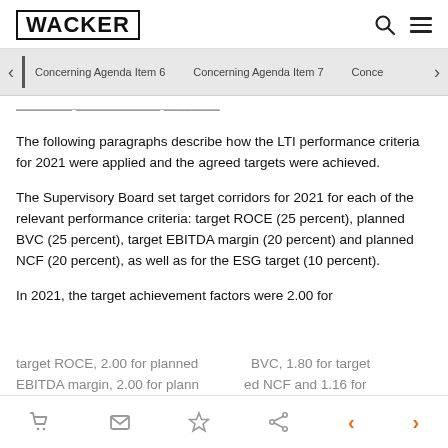WACKER
Concerning Agenda Item 6  Concerning Agenda Item 7  Conce
The following paragraphs describe how the LTI performance criteria for 2021 were applied and the agreed targets were achieved.
The Supervisory Board set target corridors for 2021 for each of the relevant performance criteria: target ROCE (25 percent), planned BVC (25 percent), target EBITDA margin (20 percent) and planned NCF (20 percent), as well as for the ESG target (10 percent).
In 2021, the target achievement factors were 2.00 for target ROCE, 2.00 for planned BVC, 1.80 for target EBITDA margin, 2.00 for planned NCF and 1.16 for the